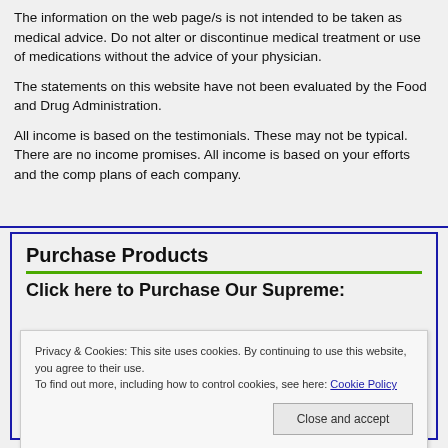The information on the web page/s is not intended to be taken as medical advice. Do not alter or discontinue medical treatment or use of medications without the advice of your physician.
The statements on this website have not been evaluated by the Food and Drug Administration.
All income is based on the testimonials. These may not be typical. There are no income promises. All income is based on your efforts and the comp plans of each company.
Purchase Products
Click here to Purchase Our Supreme:
Privacy & Cookies: This site uses cookies. By continuing to use this website, you agree to their use.
To find out more, including how to control cookies, see here: Cookie Policy
Close and accept